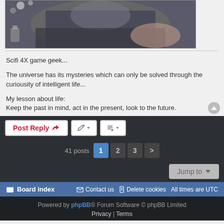[Figure (photo): Photo showing a person in a dark jacket with crossed arms, dimly lit background]
Scifi 4X game geek...
The universe has its mysteries which can only be solved through the curiousity of intelligent life...
My lesson about life:
Keep the past in mind, act in the present, look to the future.
Post Reply
41 posts  1  2  3  >
Jump to
Board index   Contact us   Delete cookies   All times are UTC
Powered by phpBB® Forum Software © phpBB Limited
Privacy | Terms